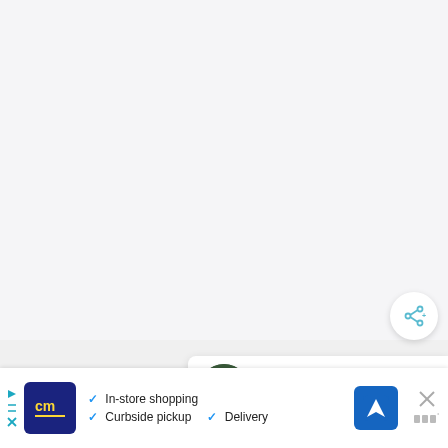[Figure (screenshot): Large light gray blank area representing a webpage background or map area]
[Figure (other): Share/add button — circular white button with teal share icon]
[Figure (other): What's Next card showing thumbnail of cenote forest image and text: WHAT'S NEXT → / 17 Best Cenotes Nea...]
[Figure (other): Advertisement banner for CM (likely Canadian Mattress or similar store) with logo, checkmarks for In-store shopping, Curbside pickup, Delivery, navigation icon, and close button]